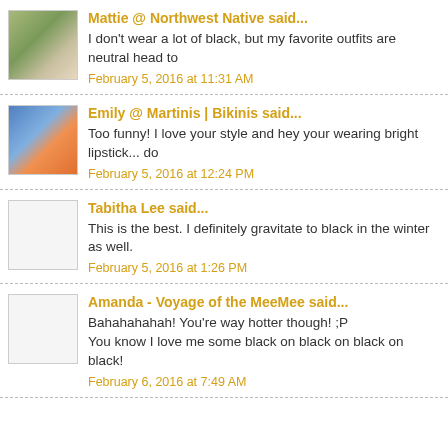Mattie @ Northwest Native said...
I don't wear a lot of black, but my favorite outfits are neutral head to
February 5, 2016 at 11:31 AM
Emily @ Martinis | Bikinis said...
Too funny! I love your style and hey your wearing bright lipstick... do
February 5, 2016 at 12:24 PM
Tabitha Lee said...
This is the best. I definitely gravitate to black in the winter as well.
February 5, 2016 at 1:26 PM
Amanda - Voyage of the MeeMee said...
Bahahahahah! You're way hotter though! ;P
You know I love me some black on black on black on black!
February 6, 2016 at 7:49 AM